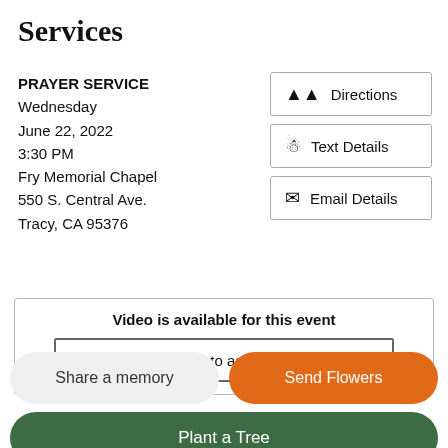Services
PRAYER SERVICE
Wednesday
June 22, 2022
3:30 PM
Fry Memorial Chapel
550 S. Central Ave.
Tracy, CA 95376
Directions
Text Details
Email Details
Video is available for this event
Click here to access the video
Share a memory
Send Flowers
Plant a Tree